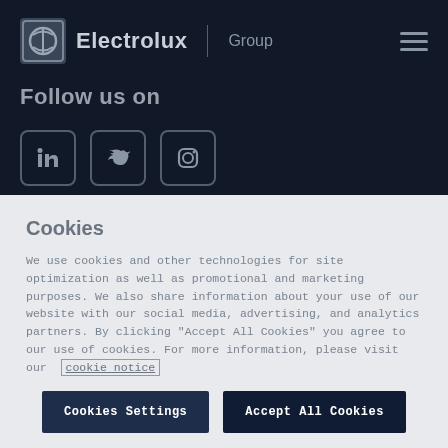Electrolux Group
Follow us on
[Figure (illustration): Social media icons: LinkedIn, Twitter, Instagram in rounded square borders on dark background]
About this website (partially visible)
Cookies
We use cookies and other technologies for site optimization as well as promotional and marketing purposes. We also share information about your use of our website with our social media, advertising, and analytics partners. By clicking “Accept All Cookies” you agree to our use of cookies. For more information, please visit our cookie notice
Cookies Settings
Accept All Cookies